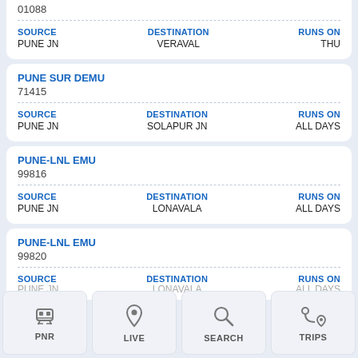01088
SOURCE: PUNE JN | DESTINATION: VERAVAL | RUNS ON: THU
PUNE SUR DEMU
71415
SOURCE: PUNE JN | DESTINATION: SOLAPUR JN | RUNS ON: ALL DAYS
PUNE-LNL EMU
99816
SOURCE: PUNE JN | DESTINATION: LONAVALA | RUNS ON: ALL DAYS
PUNE-LNL EMU
99820
SOURCE: PUNE JN | DESTINATION: LONAVALA | RUNS ON: ALL DAYS
PNR | LIVE | SEARCH | TRIPS